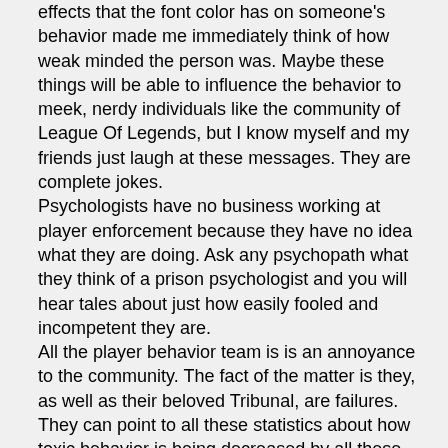effects that the font color has on someone's behavior made me immediately think of how weak minded the person was. Maybe these things will be able to influence the behavior to meek, nerdy individuals like the community of League Of Legends, but I know myself and my friends just laugh at these messages. They are complete jokes. Psychologists have no business working at player enforcement because they have no idea what they are doing. Ask any psychopath what they think of a prison psychologist and you will hear tales about just how easily fooled and incompetent they are. All the player behavior team is is an annoyance to the community. The fact of the matter is they, as well as their beloved Tribunal, are failures. They can point to all these statistics about how toxic behavior is being decreased by all these things they are implementing but it isn't reflective of reality. It's like when New York City reported record lows in crimes, which was true, but then the only reason for it was that they stopped counting certain things as crimes. The reality of the